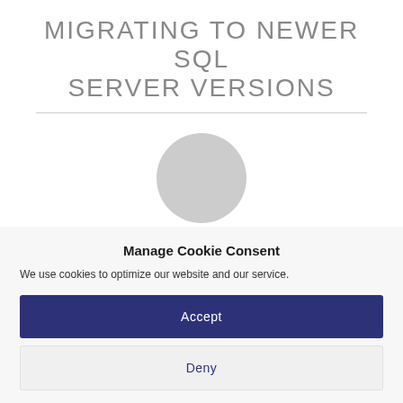MIGRATING TO NEWER SQL SERVER VERSIONS
[Figure (illustration): A light gray placeholder circle representing an image or avatar]
Manage Cookie Consent
We use cookies to optimize our website and our service.
Accept
Deny